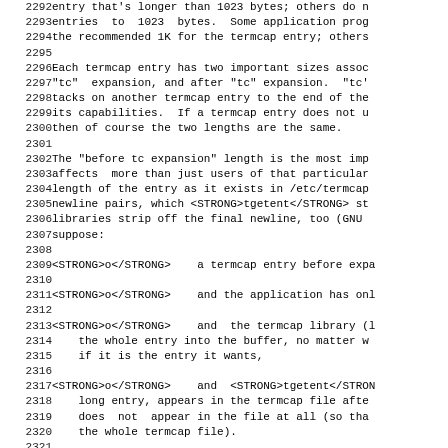2292  entry that's longer than 1023 bytes; others do not truncate
2293  entries to 1023 bytes. Some application programs
2294  the recommended 1K for the termcap entry; others
2295
2296  Each termcap entry has two important sizes assoc
2297  "tc" expansion, and after "tc" expansion. "tc"
2298  tacks on another termcap entry to the end of the
2299  its capabilities. If a termcap entry does not u
2300  then of course the two lengths are the same.
2301
2302  The "before tc expansion" length is the most imp
2303  affects more than just users of that particular
2304  length of the entry as it exists in /etc/termcap
2305  newline pairs, which <STRONG>tgetent</STRONG> strips. Some
2306  libraries strip off the final newline, too (GNU
2307  suppose:
2308
2309  <STRONG>o</STRONG>   a termcap entry before expa
2310
2311  <STRONG>o</STRONG>   and the application has onl
2312
2313  <STRONG>o</STRONG>   and the termcap library (l
2314      the whole entry into the buffer, no matter w
2315      if it is the entry it wants,
2316
2317  <STRONG>o</STRONG>   and <STRONG>tgetent</STRONG>
2318      long entry, appears in the termcap file afte
2319      does not appear in the file at all (so tha
2320      the whole termcap file).
2321
2322  Then <STRONG>tgetent</STRONG> will overwrite mem
2323  core dump the program. Programs like telnet a